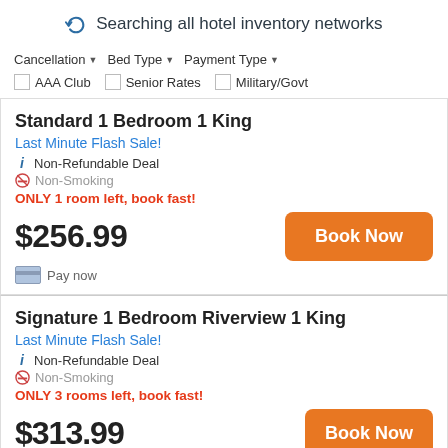Searching all hotel inventory networks
Cancellation ▾  Bed Type ▾  Payment Type ▾
☐ AAA Club  ☐ Senior Rates  ☐ Military/Govt
Standard 1 Bedroom 1 King
Last Minute Flash Sale!
ℹ Non-Refundable Deal
🚭 Non-Smoking
ONLY 1 room left, book fast!
$256.99
Book Now
Pay now
Signature 1 Bedroom Riverview 1 King
Last Minute Flash Sale!
ℹ Non-Refundable Deal
🚭 Non-Smoking
ONLY 3 rooms left, book fast!
$313.99
Book Now